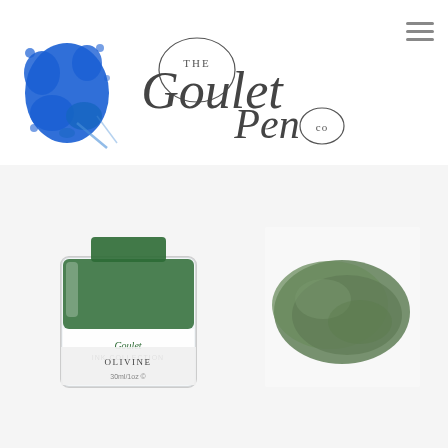[Figure (logo): The Goulet Pen Co. logo with blue ink splash and cursive script text]
[Figure (photo): Product photo of Goulet Ink Collection Olivine ink bottle (30ml) alongside an olive green ink swatch on white paper]